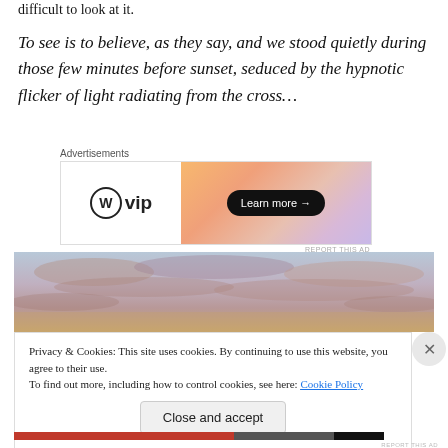difficult to look at it.
To see is to believe, as they say, and we stood quietly during those few minutes before sunset, seduced by the hypnotic flicker of light radiating from the cross…
[Figure (screenshot): WordPress VIP advertisement banner with orange gradient background and 'Learn more →' button]
[Figure (photo): Sunset sky with clouds in orange and purple tones]
Privacy & Cookies: This site uses cookies. By continuing to use this website, you agree to their use.
To find out more, including how to control cookies, see here: Cookie Policy
Close and accept